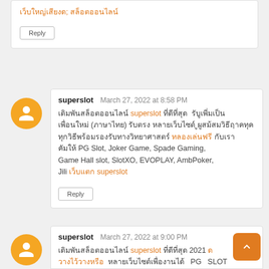Reply
superslot  March 27, 2022 at 8:58 PM
Thai text superslot Thai text Thai text Thai text (Thai) Thai text Thai text Thai text Thai text Thai text Thai text Thai text Thai text PG Slot, Joker Game, Spade Gaming, Game Hall slot, SlotXO, EVOPLAY, AmbPoker, Jili Thai text superslot
Reply
superslot  March 27, 2022 at 9:00 PM
Thai text superslot Thai text 2021 Thai text Thai text PG SLOT...